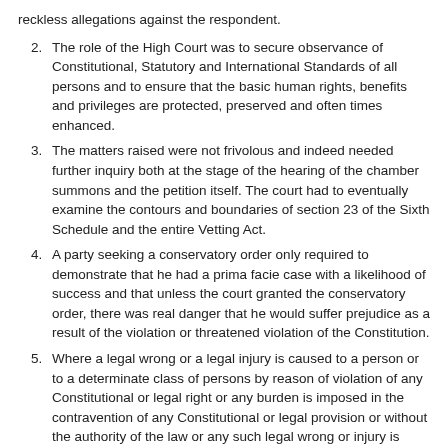reckless allegations against the respondent.
The role of the High Court was to secure observance of Constitutional, Statutory and International Standards of all persons and to ensure that the basic human rights, benefits and privileges are protected, preserved and often times enhanced.
The matters raised were not frivolous and indeed needed further inquiry both at the stage of the hearing of the chamber summons and the petition itself. The court had to eventually examine the contours and boundaries of section 23 of the Sixth Schedule and the entire Vetting Act.
A party seeking a conservatory order only required to demonstrate that he had a prima facie case with a likelihood of success and that unless the court granted the conservatory order, there was real danger that he would suffer prejudice as a result of the violation or threatened violation of the Constitution.
Where a legal wrong or a legal injury is caused to a person or to a determinate class of persons by reason of violation of any Constitutional or legal right or any burden is imposed in the contravention of any Constitutional or legal provision or without the authority of the law or any such legal wrong or injury is threatened, the High Court had powers to grant appropriate reliefs so that the aggrieved party is not rendered helpless or hapless in the eyes of